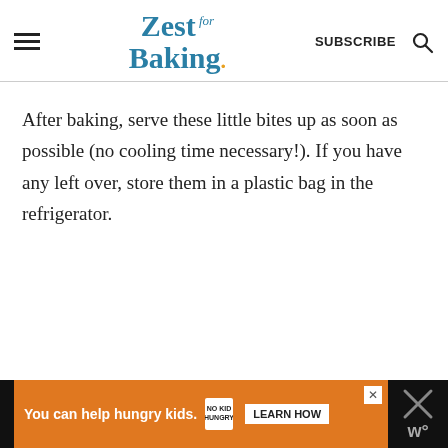Zest for Baking — SUBSCRIBE
After baking, serve these little bites up as soon as possible (no cooling time necessary!). If you have any left over, store them in a plastic bag in the refrigerator.
[Figure (infographic): Advertisement banner: orange background with text 'You can help hungry kids.' and No Kid Hungry logo and LEARN HOW button, flanked by black sections.]